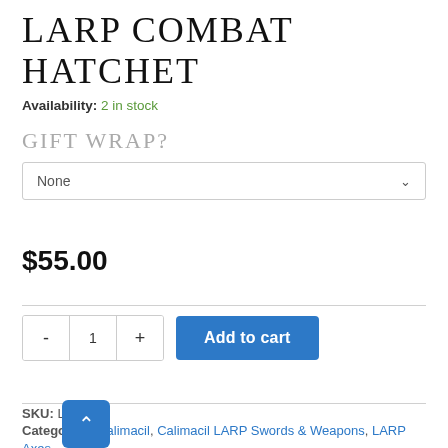LARP COMBAT HATCHET
Availability: 2 in stock
GIFT WRAP?
None
$55.00
Add to cart
SKU: L-252
Categories: Calimacil, Calimacil LARP Swords & Weapons, LARP Axes, LARP Throwing Weapons, Zombie LARP Weapons, Zombie Themed